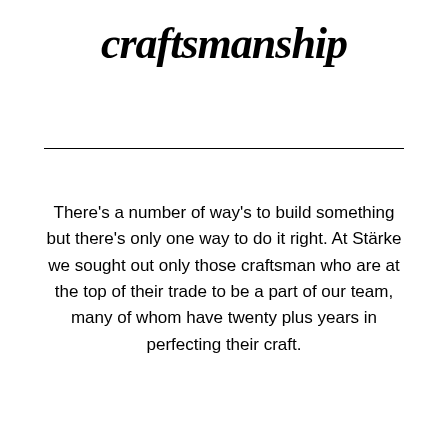craftsmanship
There's a number of way's to build something but there's only one way to do it right. At Stärke we sought out only those craftsman who are at the top of their trade to be a part of our team, many of whom have twenty plus years in perfecting their craft.